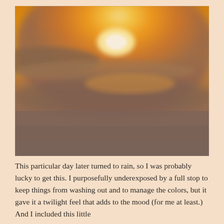[Figure (photo): A sunset or sunrise photograph showing a glowing golden-orange sky with the sun partially obscured by clouds. The upper portion is bright yellow-orange near the sun, transitioning to deeper amber and muted gray-purple clouds across the middle and lower portions of the image.]
This particular day later turned to rain, so I was probably lucky to get this. I purposefully underexposed by a full stop to keep things from washing out and to manage the colors, but it gave it a twilight feel that adds to the mood (for me at least.) And I included this little